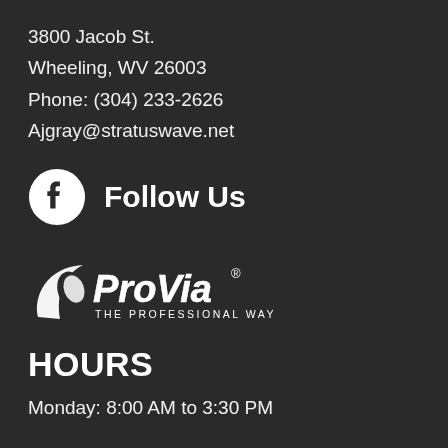3800 Jacob St.
Wheeling, WV 26003
Phone: (304) 233-2626
Ajgray@stratuswave.net
[Figure (logo): Facebook icon circle logo]
Follow Us
[Figure (logo): ProVia - The Professional Way logo]
HOURS
Monday: 8:00 AM to 3:30 PM